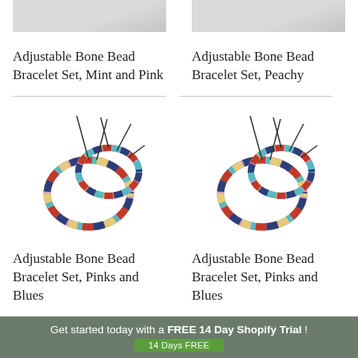[Figure (photo): Top portion of two bracelet product photos cropped at top]
Adjustable Bone Bead Bracelet Set, Mint and Pink
Adjustable Bone Bead Bracelet Set, Peachy
[Figure (photo): Adjustable Bone Bead Bracelet Set Pinks and Blues - two bracelets with colorful beads]
[Figure (photo): Adjustable Bone Bead Bracelet Set Pinks and Blues - two bracelets with colorful beads]
Adjustable Bone Bead Bracelet Set, Pinks and Blues
Adjustable Bone Bead Bracelet Set, Pinks and Blues
Get started today with a FREE 14 Day Shopify Trial ! 14 Days FREE